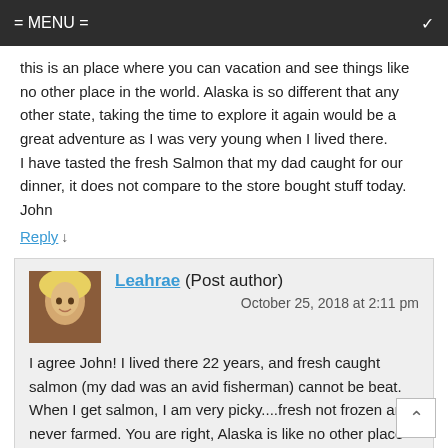= MENU =
this is an place where you can vacation and see things like no other place in the world. Alaska is so different that any other state, taking the time to explore it again would be a great adventure as I was very young when I lived there.
I have tasted the fresh Salmon that my dad caught for our dinner, it does not compare to the store bought stuff today.
John
Reply ↓
Leahrae (Post author)
October 25, 2018 at 2:11 pm
I agree John! I lived there 22 years, and fresh caught salmon (my dad was an avid fisherman) cannot be beat. When I get salmon, I am very picky....fresh not frozen and never farmed. You are right, Alaska is like no other place and definitely a place everyone should see...